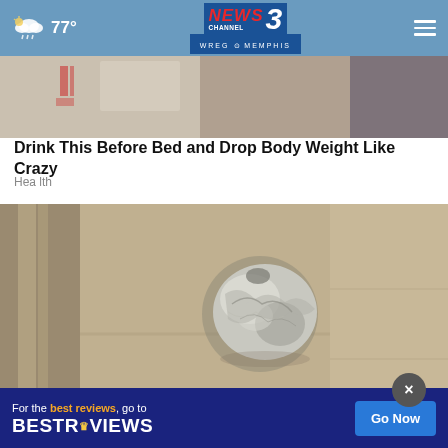77° NEWS CHANNEL 3 WREG MEMPHIS
[Figure (photo): Partial view of a cardboard box or similar item, top of sponsored content image]
Drink This Before Bed and Drop Body Weight Like Crazy
Health
[Figure (photo): A door knob wrapped in aluminum foil, close-up photograph]
[Figure (other): Advertisement banner: For the best reviews, go to BESTREVIEWS with Go Now button]